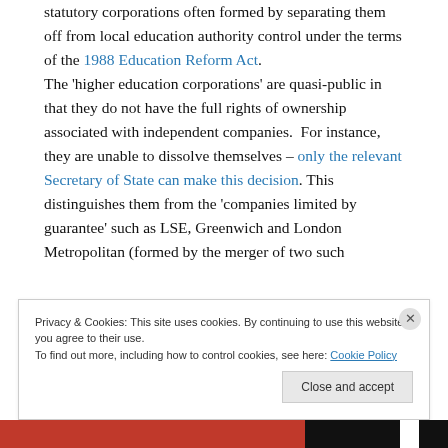statutory corporations often formed by separating them off from local education authority control under the terms of the 1988 Education Reform Act. The 'higher education corporations' are quasi-public in that they do not have the full rights of ownership associated with independent companies. For instance, they are unable to dissolve themselves – only the relevant Secretary of State can make this decision. This distinguishes them from the 'companies limited by guarantee' such as LSE, Greenwich and London Metropolitan (formed by the merger of two such
Privacy & Cookies: This site uses cookies. By continuing to use this website, you agree to their use. To find out more, including how to control cookies, see here: Cookie Policy